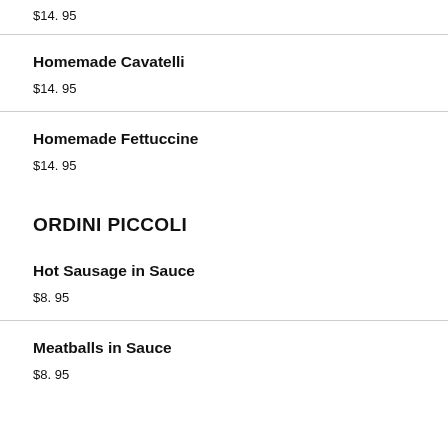$14. 95
Homemade Cavatelli
$14. 95
Homemade Fettuccine
$14. 95
ORDINI PICCOLI
Hot Sausage in Sauce
$8. 95
Meatballs in Sauce
$8. 95